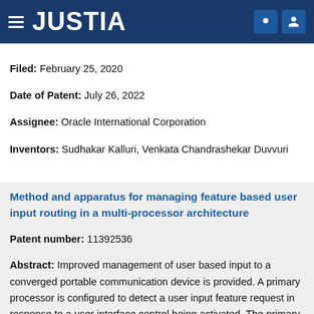JUSTIA
Filed: February 25, 2020
Date of Patent: July 26, 2022
Assignee: Oracle International Corporation
Inventors: Sudhakar Kalluri, Venkata Chandrashekar Duvvuri
Method and apparatus for managing feature based user input routing in a multi-processor architecture
Patent number: 11392536
Abstract: Improved management of user based input to a converged portable communication device is provided. A primary processor is configured to detect a user input feature request in response to a user interface control being activated. The primary processor determines whether the user input feature request is one of: a primary processor-centric request or a